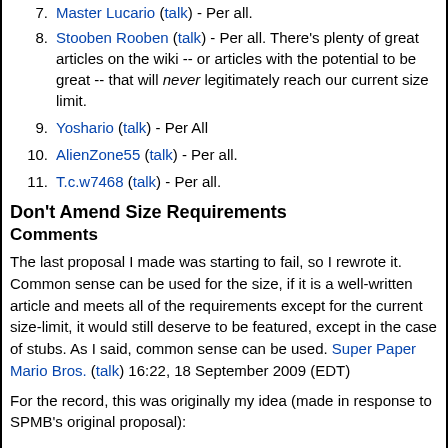7. Master Lucario (talk) - Per all.
8. Stooben Rooben (talk) - Per all. There's plenty of great articles on the wiki -- or articles with the potential to be great -- that will never legitimately reach our current size limit.
9. Yoshario (talk) - Per All
10. AlienZone55 (talk) - Per all.
11. T.c.w7468 (talk) - Per all.
Don't Amend Size Requirements
Comments
The last proposal I made was starting to fail, so I rewrote it. Common sense can be used for the size, if it is a well-written article and meets all of the requirements except for the current size-limit, it would still deserve to be featured, except in the case of stubs. As I said, common sense can be used. Super Paper Mario Bros. (talk) 16:22, 18 September 2009 (EDT)
For the record, this was originally my idea (made in response to SPMB's original proposal):